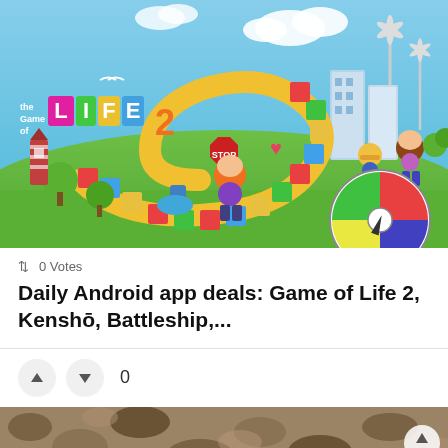[Figure (screenshot): Game of Life 2 promotional image showing colorful board game with animated characters, buildings, and spinner wheel]
↕ 0 Votes
Daily Android app deals: Game of Life 2, Kenshō, Battleship,...
▲ ▼ 0
[Figure (photo): Partial photo of stone or gravel texture at bottom of page]